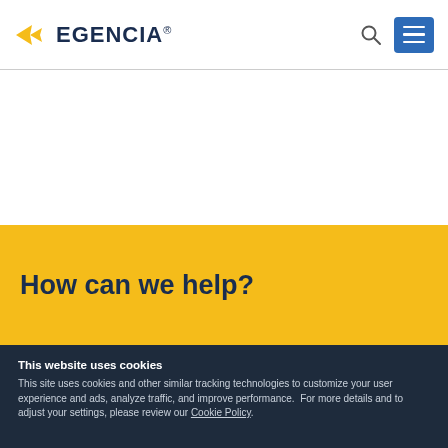EGENCIA
How can we help?
This website uses cookies
This site uses cookies and other similar tracking technologies to customize your user experience and ads, analyze traffic, and improve performance.  For more details and to adjust your settings, please review our Cookie Policy.